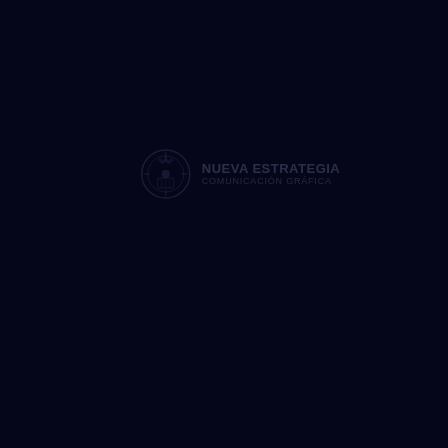[Figure (logo): Government or institutional logo with emblem/seal on the left and text on the right reading organization name and subtitle, rendered in very low opacity on a dark navy background]